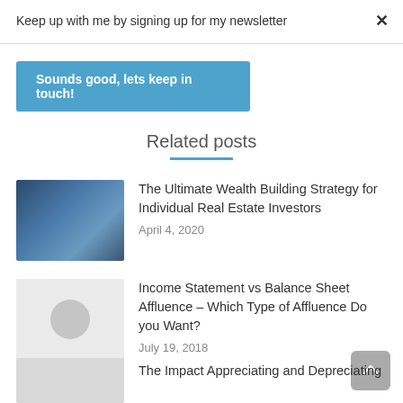Keep up with me by signing up for my newsletter
×
Sounds good, lets keep in touch!
Related posts
[Figure (photo): Chess pieces on a board with blue/dark background]
The Ultimate Wealth Building Strategy for Individual Real Estate Investors
April 4, 2020
[Figure (photo): Gray placeholder image with circle icon]
Income Statement vs Balance Sheet Affluence – Which Type of Affluence Do you Want?
July 19, 2018
[Figure (photo): Partial thumbnail image at bottom]
The Impact Appreciating and Depreciating